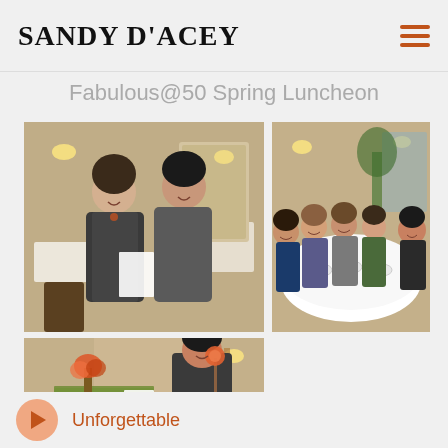SANDY D'ACEY
Fabulous@50 Spring Luncheon
[Figure (photo): Two women standing together smiling in a restaurant dining room, one holding papers]
[Figure (photo): Group of women seated around a round table set for a luncheon event]
[Figure (photo): A woman standing in the restaurant venue holding what appears to be a flower or prop]
Unforgettable